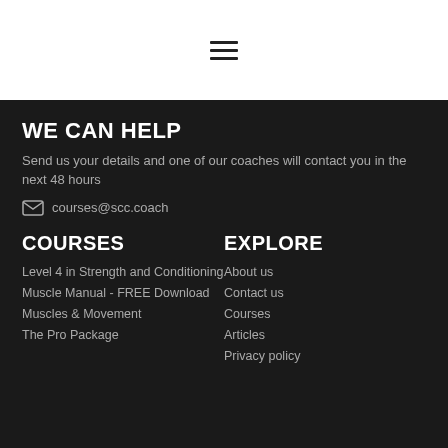[Figure (other): Hamburger menu icon (three horizontal lines)]
WE CAN HELP
Send us your details and one of our coaches will contact you in the next 48 hours
courses@scc.coach
COURSES
Level 4 in Strength and Conditioning
Muscle Manual - FREE Download
Muscles & Movement
The Pro Package
EXPLORE
About us
Contact us
Courses
Articles
Privacy policy